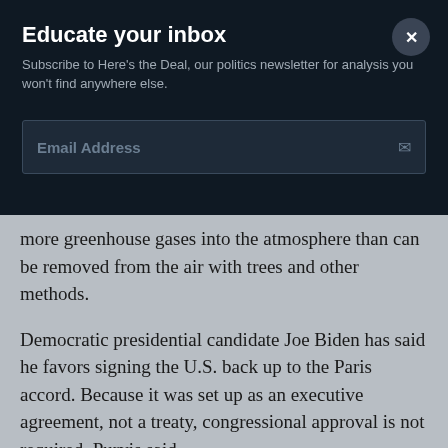Educate your inbox
Subscribe to Here's the Deal, our politics newsletter for analysis you won't find anywhere else.
Email Address
more greenhouse gases into the atmosphere than can be removed from the air with trees and other methods.
Democratic presidential candidate Joe Biden has said he favors signing the U.S. back up to the Paris accord. Because it was set up as an executive agreement, not a treaty, congressional approval is not required, Purvis said.